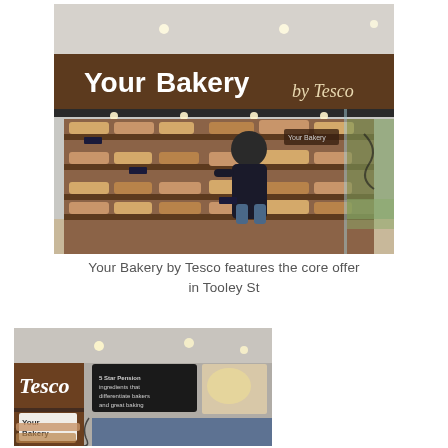[Figure (photo): Your Bakery by Tesco storefront showing bread shelves stocked with various loaves, a customer browsing, dark wooden signage reading 'Your Bakery by Tesco' in white and italic lettering, and spot lighting above.]
Your Bakery by Tesco features the core offer in Tooley St
[Figure (photo): Interior of a Tesco bakery section showing Tesco branding in white italic on wooden panel, black overhead signage panels with text, spot lighting, bread products on shelves, and 'Your Bakery' label sign.]